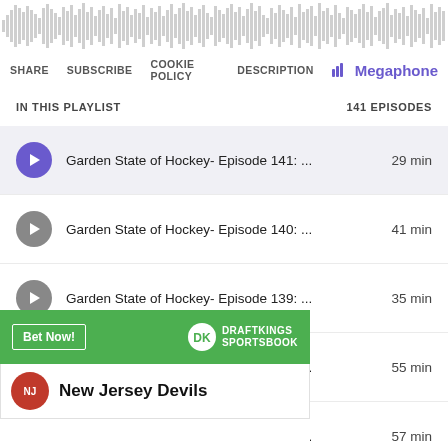[Figure (other): Audio waveform visualization at top of podcast player]
SHARE  SUBSCRIBE  COOKIE POLICY  DESCRIPTION  Megaphone
IN THIS PLAYLIST  141 EPISODES
Garden State of Hockey- Episode 141: ...  29 min
Garden State of Hockey- Episode 140: ...  41 min
Garden State of Hockey- Episode 139: ...  35 min
Garden State of Hockey- Episode 138: ...  55 min
Garden State of Hockey- Episode 137: ...  57 min
[Figure (screenshot): DraftKings Sportsbook advertisement with Bet Now button]
New Jersey Devils